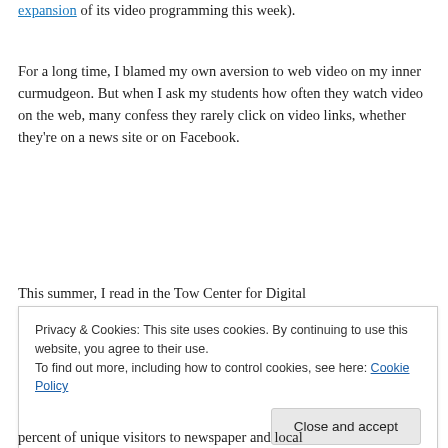expansion of its video programming this week).
For a long time, I blamed my own aversion to web video on my inner curmudgeon. But when I ask my students how often they watch video on the web, many confess they rarely click on video links, whether they're on a news site or on Facebook.
This summer, I read in the Tow Center for Digital
Privacy & Cookies: This site uses cookies. By continuing to use this website, you agree to their use.
To find out more, including how to control cookies, see here: Cookie Policy
Close and accept
percent of unique visitors to newspaper and local